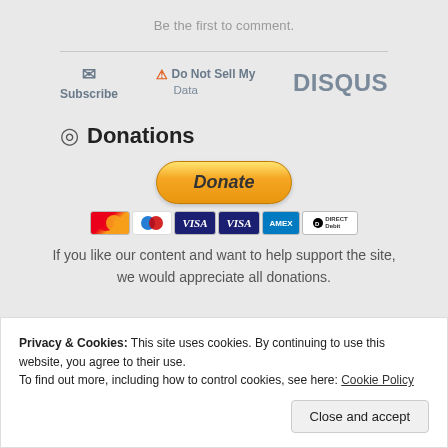Be the first to comment.
[Figure (screenshot): Disqus widget bar with Subscribe icon, Do Not Sell My Data warning, and DISQUS logo]
Donations
[Figure (screenshot): PayPal Donate button with payment card icons (Mastercard, Maestro, Visa, Visa Electron, Amex, Direct Debit)]
If you like our content and want to help support the site, we would appreciate all donations.
Privacy & Cookies: This site uses cookies. By continuing to use this website, you agree to their use.
To find out more, including how to control cookies, see here: Cookie Policy